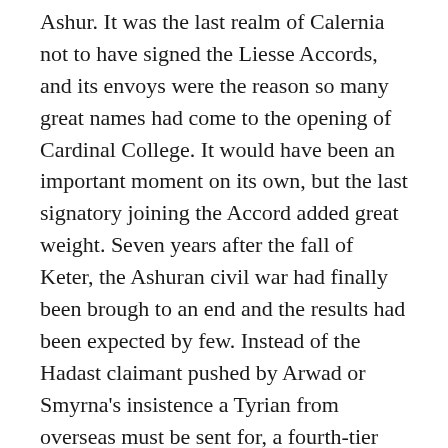Ashur. It was the last realm of Calernia not to have signed the Liesse Accords, and its envoys were the reason so many great names had come to the opening of Cardinal College. It would have been an important moment on its own, but the last signatory joining the Accord added great weight. Seven years after the fall of Keter, the Ashuran civil war had finally been brough to an end and the results had been expected by few. Instead of the Hadast claimant pushed by Arwad or Smyrna's insistence a Tyrian from overseas must be sent for, a fourth-tier citizen from Smyrna by the name of Baltsar Aderbal had taken control.
He'd been a middle-aged man with few allies when he'd declared the Committee of Government with